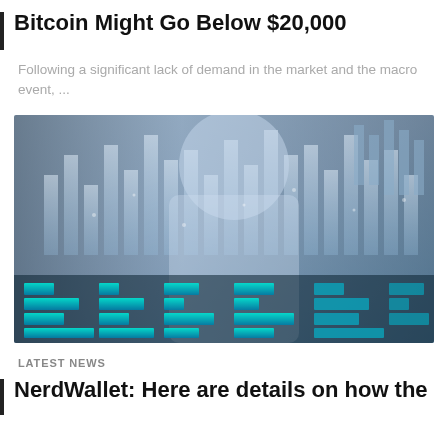Bitcoin Might Go Below $20,000
Following a significant lack of demand in the market and the macro event, ...
[Figure (photo): A person typing on a keyboard with a digital financial chart overlay — glowing blue bar charts and data screens superimposed on a business setting.]
LATEST NEWS
NerdWallet: Here are details on how the